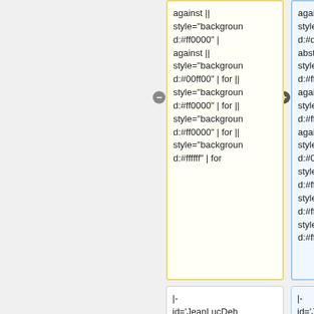against || style="background:#ff0000" | against || style="background:#00ff00" | for || style="background:#ff0000" | for || style="background:#ff0000" | for || style="background:#ffffff" | for
against || style="background:#dc143c" | abst. || style="background:#ff0000" | against || style="background:#ff0000" | against || style="background:#00ff00" | for || style="background:#ff0000" | for || style="background:#ff0000" | for || style="background:#ffffff" | for
|- id='JeanLucDehaene' style='display:none'
|- id='JeanLucDehaene' style='display:none'
|-
|- {{!!}}